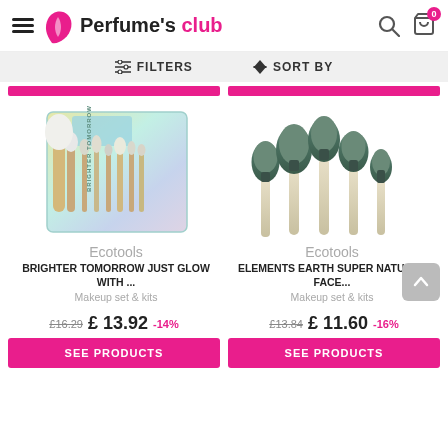Perfume's club
FILTERS   SORT BY
[Figure (photo): Ecotools Brighter Tomorrow Just Glow With brush set in holographic packaging]
[Figure (photo): Ecotools Elements Earth Super Natural Face makeup brushes set with green and beige handles]
Ecotools
BRIGHTER TOMORROW JUST GLOW WITH ...
Makeup set & kits
Ecotools
ELEMENTS EARTH SUPER NATURAL FACE...
Makeup set & kits
£16.29  £ 13.92  -14%   £13.84  £ 11.60  -16%
SEE PRODUCTS
SEE PRODUCTS